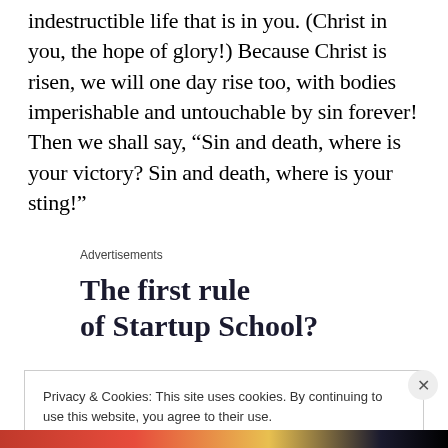indestructible life that is in you. (Christ in you, the hope of glory!) Because Christ is risen, we will one day rise too, with bodies imperishable and untouchable by sin forever! Then we shall say, “Sin and death, where is your victory? Sin and death, where is your sting!”
Advertisements
The first rule of Startup School?
Privacy & Cookies: This site uses cookies. By continuing to use this website, you agree to their use.
To find out more, including how to control cookies, see here: Cookie Policy
Close and accept